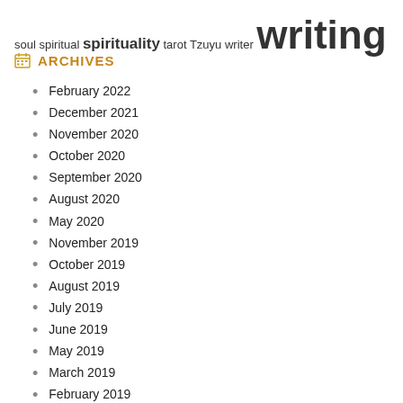soul spiritual spirituality tarot Tzuyu writer writing
ARCHIVES
February 2022
December 2021
November 2020
October 2020
September 2020
August 2020
May 2020
November 2019
October 2019
August 2019
July 2019
June 2019
May 2019
March 2019
February 2019
January 2019
November 2018
October 2018